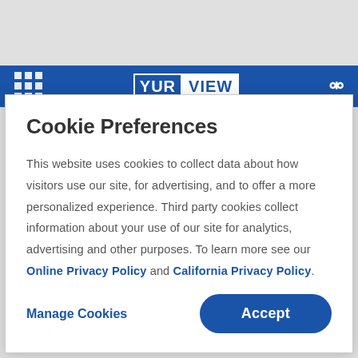[Figure (screenshot): YurView website navigation bar with blue background, grid/apps icon on left, YurView logo in center, search icon on right]
Cookie Preferences
This website uses cookies to collect data about how visitors use our site, for advertising, and to offer a more personalized experience. Third party cookies collect information about your use of our site for analytics, advertising and other purposes. To learn more see our Online Privacy Policy and California Privacy Policy.
Manage Cookies
Accept